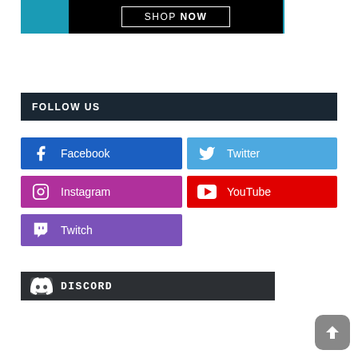[Figure (screenshot): Shop Now banner with teal/black background and white bordered button]
FOLLOW US
[Figure (screenshot): Facebook social button - blue]
[Figure (screenshot): Twitter social button - light blue]
[Figure (screenshot): Instagram social button - pink/magenta]
[Figure (screenshot): YouTube social button - red]
[Figure (screenshot): Twitch social button - purple]
[Figure (logo): Discord logo bar - dark background with Discord icon and wordmark]